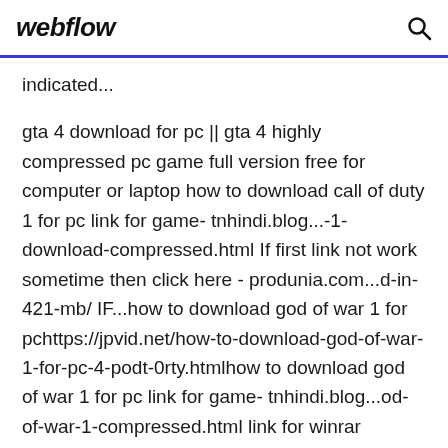webflow [search icon]
indicated...
gta 4 download for pc || gta 4 highly compressed pc game full version free for computer or laptop how to download call of duty 1 for pc link for game- tnhindi.blog...-1-download-compressed.html If first link not work sometime then click here - produnia.com...d-in-421-mb/ IF...how to download god of war 1 for pchttps://jpvid.net/how-to-download-god-of-war-1-for-pc-4-podt-0rty.htmlhow to download god of war 1 for pc link for game- tnhindi.blog...od-of-war-1-compressed.html link for winrar software- tnhindi.blog...2owlacv.html check... how to download the godfather game for